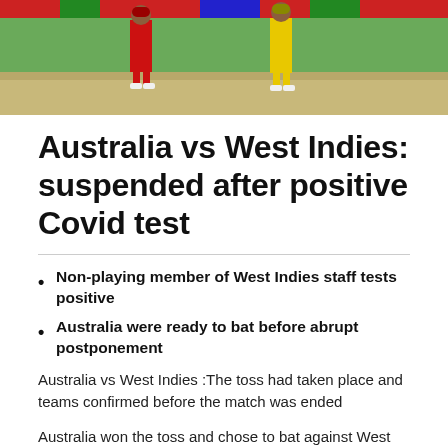[Figure (photo): Cricket match photo showing players in red West Indies kit and yellow Australia kit on the pitch]
Australia vs West Indies: suspended after positive Covid test
Non-playing member of West Indies staff tests positive
Australia were ready to bat before abrupt postponement
Australia vs West Indies :The toss had taken place and teams confirmed before the match was ended
Australia won the toss and chose to bat against West Indies – Match suspended